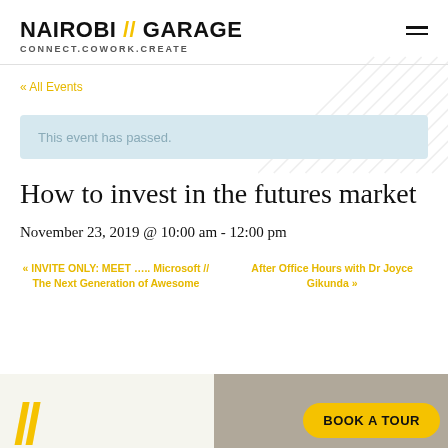NAIROBI // GARAGE CONNECT.COWORK.CREATE
« All Events
This event has passed.
How to invest in the futures market
November 23, 2019 @ 10:00 am - 12:00 pm
« INVITE ONLY: MEET ….. Microsoft // The Next Generation of Awesome
After Office Hours with Dr Joyce Gikunda »
BOOK A TOUR